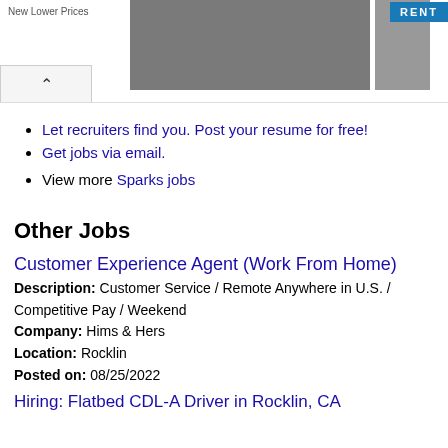[Figure (screenshot): Advertisement banner with 'New Lower Prices' text, wedding couple photo, man in suit photo, RENT button, X and play controls]
Let recruiters find you. Post your resume for free!
Get jobs via email.
View more Sparks jobs
Other Jobs
Customer Experience Agent (Work From Home)
Description: Customer Service / Remote Anywhere in U.S. / Competitive Pay / Weekend
Company: Hims & Hers
Location: Rocklin
Posted on: 08/25/2022
Hiring: Flatbed CDL-A Driver in Rocklin, CA